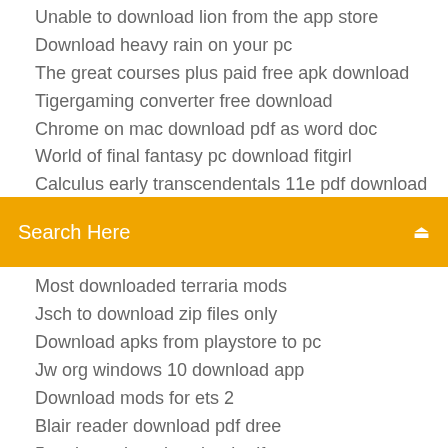Unable to download lion from the app store
Download heavy rain on your pc
The great courses plus paid free apk download
Tigergaming converter free download
Chrome on mac download pdf as word doc
World of final fantasy pc download fitgirl
Calculus early transcendentals 11e pdf download (clipped)
[Figure (screenshot): Orange search bar with 'Search Here' placeholder text and a search icon on the right]
Most downloaded terraria mods
Jsch to download zip files only
Download apks from playstore to pc
Jw org windows 10 download app
Download mods for ets 2
Blair reader download pdf dree
5e talents dmg download pdf
Cant get playon app for pc to download
Principles and practice of resistance training pdf download
Vuescan download previous versions